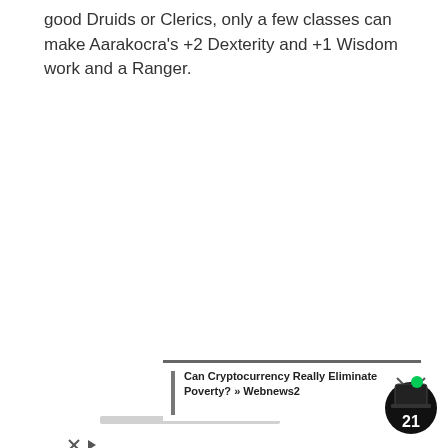good Druids or Clerics, only a few classes can make Aarakocra's +2 Dexterity and +1 Wisdom work and a Ranger.
[Figure (screenshot): Web page overlay with a white panel popup, a partially visible black pill-shaped READ MORE button, a Contact Us floating box, a blue Connection advertisement banner, a news link popup reading 'Can Cryptocurrency Really Eliminate Poverty? » Webnews2', and a TV channel 21 badge icon with a green dot.]